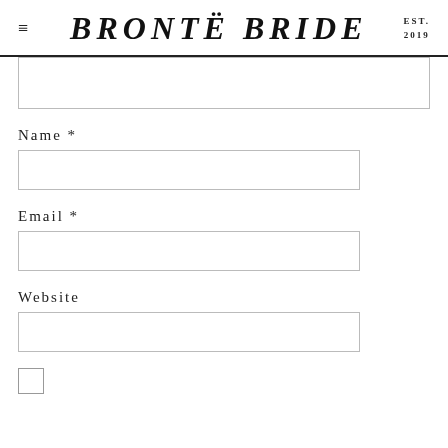≡  BRONËE BRIDE  EST. 2019
[Figure (other): Text input box (textarea) partially visible at top of form]
Name *
[Figure (other): Name input text field]
Email *
[Figure (other): Email input text field]
Website
[Figure (other): Website input text field]
[Figure (other): Checkbox (unchecked)]